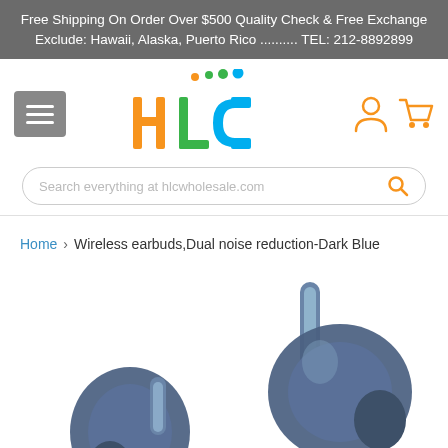Free Shipping On Order Over $500 Quality Check & Free Exchange Exclude: Hawaii, Alaska, Puerto Rico .......... TEL: 212-8892899
[Figure (logo): HLC wholesale logo with colorful stylized letters H, L, C and dots]
Search everything at hlcwholesale.com
Home > Wireless earbuds,Dual noise reduction-Dark Blue
[Figure (photo): Two dark blue wireless earbuds shown from the side]